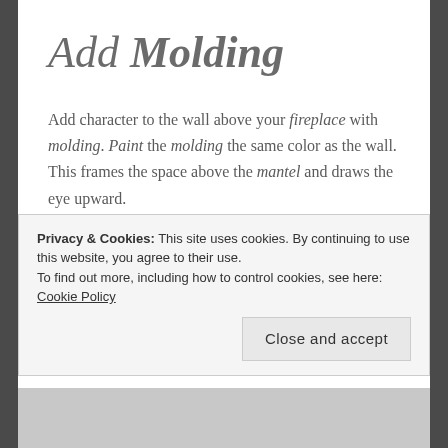Add Molding
Add character to the wall above your fireplace with molding. Paint the molding the same color as the wall. This frames the space above the mantel and draws the eye upward.
Paint
Privacy & Cookies: This site uses cookies. By continuing to use this website, you agree to their use.
To find out more, including how to control cookies, see here: Cookie Policy
Close and accept